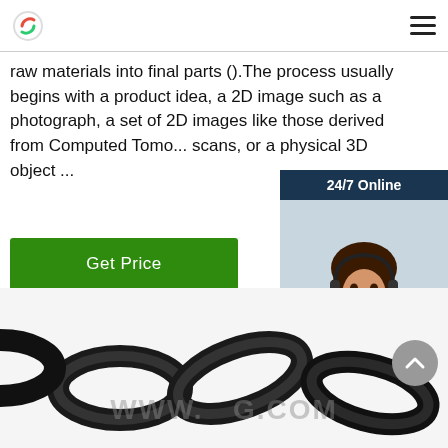Logo and navigation menu
raw materials into final parts ().The process usually begins with a product idea, a 2D image such as a photograph, a set of 2D images like those derived from Computed Tomo... scans, or a physical 3D object ...
[Figure (other): Green 'Get Price' button]
[Figure (photo): Chat widget with a woman wearing a headset, '24/7 Online' header, 'Click here for free chat!' text, and orange QUOTATION button]
[Figure (photo): Close-up photo of black metal chain links across the bottom of the page, with watermark text WWW...G.COM and a gray scroll-up button]